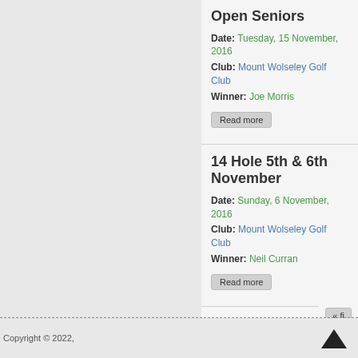Open Seniors
Date: Tuesday, 15 November, 2016
Club: Mount Wolseley Golf Club
Winner: Joe Morris
Read more
14 Hole 5th & 6th November
Date: Sunday, 6 November, 2016
Club: Mount Wolseley Golf Club
Winner: Neil Curran
Read more
« fi
Copyright © 2022,